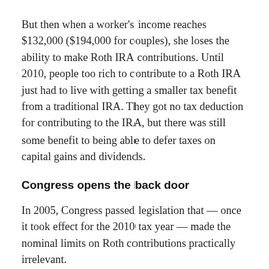But then when a worker's income reaches $132,000 ($194,000 for couples), she loses the ability to make Roth IRA contributions. Until 2010, people too rich to contribute to a Roth IRA just had to live with getting a smaller tax benefit from a traditional IRA. They got no tax deduction for contributing to the IRA, but there was still some benefit to being able to defer taxes on capital gains and dividends.
Congress opens the back door
In 2005, Congress passed legislation that — once it took effect for the 2010 tax year — made the nominal limits on Roth contributions practically irrelevant.
You can convert a traditional IRA into a Roth IRA, but